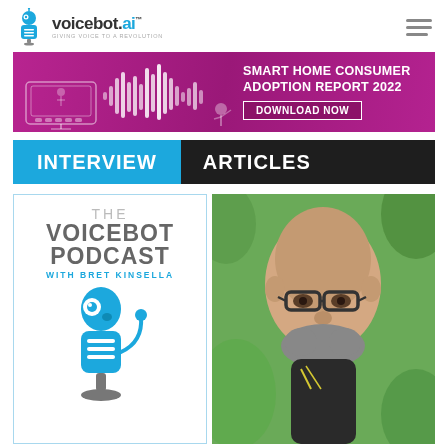[Figure (logo): Voicebot.ai logo with robot icon and tagline 'giving voice to a revolution']
[Figure (infographic): Smart Home Consumer Adoption Report 2022 promotional banner with download now button on magenta/purple background with waveform graphics]
INTERVIEW   ARTICLES
[Figure (illustration): The Voicebot Podcast with Bret Kinsella logo card with blue robot microphone illustration]
[Figure (photo): Photo of a bald man with glasses and a beard smiling outdoors]